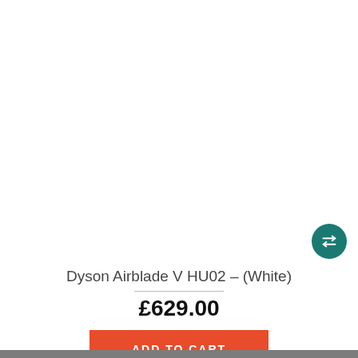[Figure (other): Teal circular icon with two horizontal arrows (swap/compare icon) on white background]
Dyson Airblade V HU02 - (White)
£629.00
ADD TO CART
Our website uses cookies to ensure you get the best shopping experience. Privacy & Cookies Policy
Showing 1 to 8 of 8 (1 Pages)
CONTACT INFORM
[Figure (logo): Feefo logo with emoji eyes and Reviews text]
stand